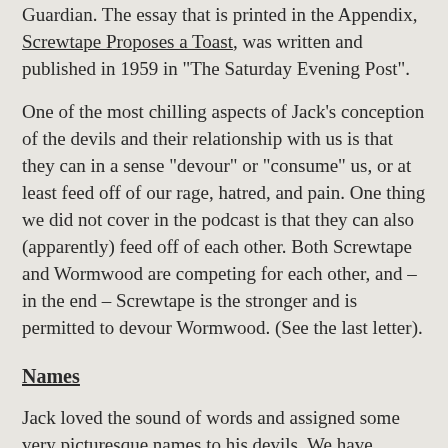Guardian. The essay that is printed in the Appendix, Screwtape Proposes a Toast, was written and published in 1959 in “The Saturday Evening Post”.
One of the most chilling aspects of Jack’s conception of the devils and their relationship with us is that they can in a sense “devour” or “consume” us, or at least feed off of our rage, hatred, and pain.  One thing we did not cover in the podcast is that they can also (apparently) feed off of each other.  Both Screwtape and Wormwood are competing for each other, and – in the end – Screwtape is the stronger and is permitted to devour Wormwood.  (See the last letter).
Names
Jack loved the sound of words and assigned some very picturesque names to his devils.  We have